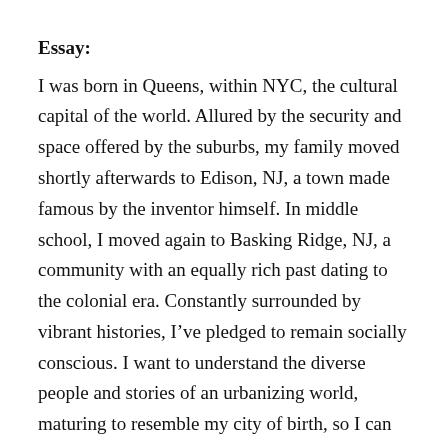Essay:
I was born in Queens, within NYC, the cultural capital of the world. Allured by the security and space offered by the suburbs, my family moved shortly afterwards to Edison, NJ, a town made famous by the inventor himself. In middle school, I moved again to Basking Ridge, NJ, a community with an equally rich past dating to the colonial era. Constantly surrounded by vibrant histories, I’ve pledged to remain socially conscious. I want to understand the diverse people and stories of an urbanizing world, maturing to resemble my city of birth, so I can contribute when my time comes.